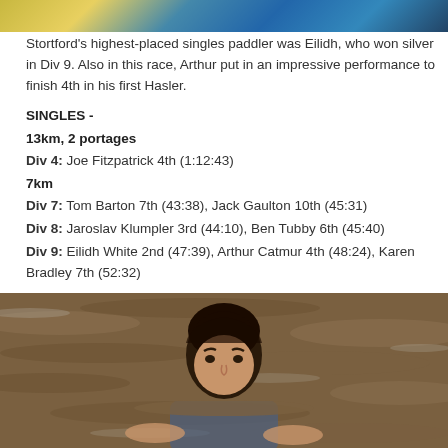[Figure (photo): Top portion of a photo showing paddlers in a kayak with yellow and blue boat]
Stortford's highest-placed singles paddler was Eilidh, who won silver in Div 9. Also in this race, Arthur put in an impressive performance to finish 4th in his first Hasler.
SINGLES -
13km, 2 portages
Div 4: Joe Fitzpatrick 4th (1:12:43)
7km
Div 7: Tom Barton 7th (43:38), Jack Gaulton 10th (45:31)
Div 8: Jaroslav Klumpler 3rd (44:10), Ben Tubby 6th (45:40)
Div 9: Eilidh White 2nd (47:39), Arthur Catmur 4th (48:24), Karen Bradley 7th (52:32)
[Figure (photo): Photo of a young person with dark hair in water, appearing to be swimming or kayaking]